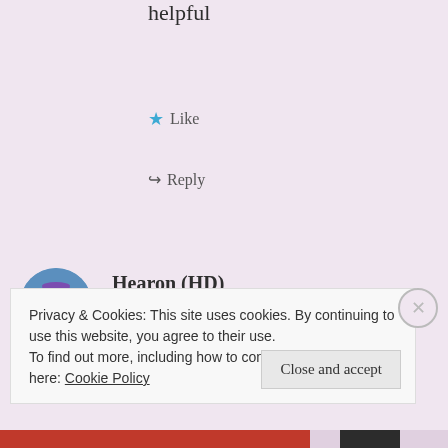helpful
★ Like
↪ Reply
Hearon (HD)
February 20, 2019 at 8:55 pm
Great post! Congrats on the 45 days! I love the
Privacy & Cookies: This site uses cookies. By continuing to use this website, you agree to their use.
To find out more, including how to control cookies, see here: Cookie Policy
Close and accept